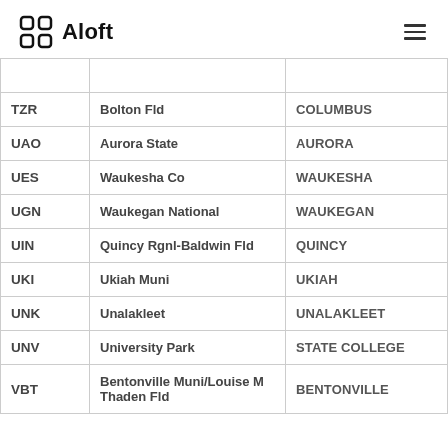Aloft
| Code | Airport | City |
| --- | --- | --- |
| TZR | Bolton Fld | COLUMBUS |
| UAO | Aurora State | AURORA |
| UES | Waukesha Co | WAUKESHA |
| UGN | Waukegan National | WAUKEGAN |
| UIN | Quincy Rgnl-Baldwin Fld | QUINCY |
| UKI | Ukiah Muni | UKIAH |
| UNK | Unalakleet | UNALAKLEET |
| UNV | University Park | STATE COLLEGE |
| VBT | Bentonville Muni/Louise M Thaden Fld | BENTONVILLE |